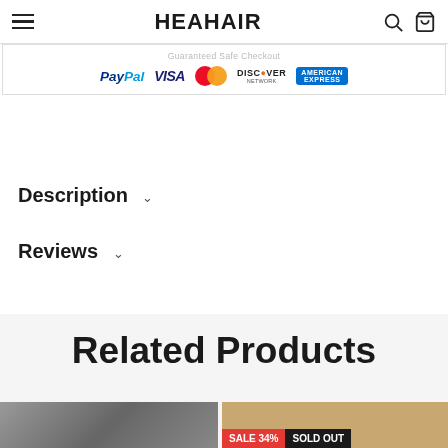HEAHAIR
[Figure (screenshot): Guaranteed Safe Checkout banner with PayPal, VISA, MasterCard, Discover, American Express logos]
Description
Reviews
Related Products
[Figure (photo): Product thumbnail image on left side]
[Figure (photo): Product thumbnail image with SALE 34% and SOLD OUT badges]